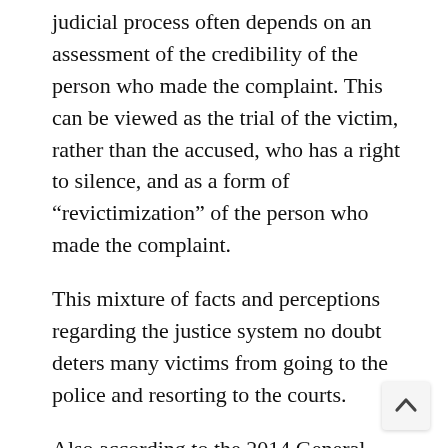judicial process often depends on an assessment of the credibility of the person who made the complaint. This can be viewed as the trial of the victim, rather than the accused, who has a right to silence, and as a form of “revictimization” of the person who made the complaint.
This mixture of facts and perceptions regarding the justice system no doubt deters many victims from going to the police and resorting to the courts.
Also according to the 2014 General Social Survey, only 5% of sexual assaults are reported to the police. The most frequently cited reasons for reporting a sexual assault include fear of not being believed, shame, embarrassment, not